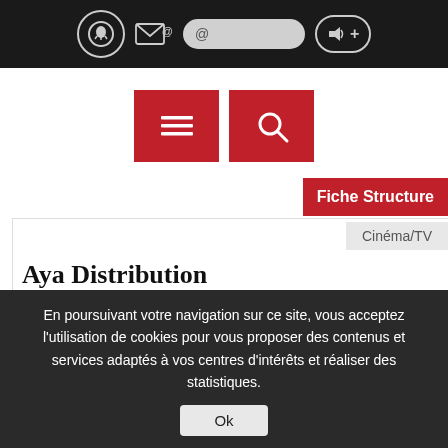[Figure (screenshot): Top navigation bar with dark background containing a circular logo icon, email icon, search bar with '@' symbol, and audio/speaker button with plus sign]
[Figure (screenshot): Two red square buttons: one with hamburger menu icon (three lines), one with magnifying glass search icon]
Fiche Structure
Cinéma/TV
Aya Distribution
© DR  ? Statut : Société de droit privé
◆ Adresse : Sea View, Boarbank Lane, Allithwaite, Grange-
En poursuivant votre navigation sur ce site, vous acceptez l'utilisation de cookies pour vous proposer des contenus et services adaptés à vos centres d'intérêts et réaliser des statistiques.